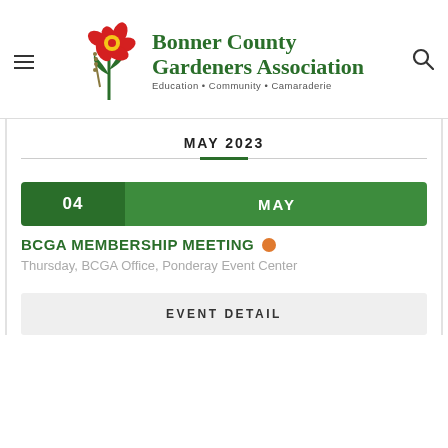[Figure (logo): Bonner County Gardeners Association logo with red flower and green stem, and text 'Bonner County Gardeners Association — Education • Community • Camaraderie']
MAY 2023
04 MAY
BCGA MEMBERSHIP MEETING
Thursday, BCGA Office, Ponderay Event Center
EVENT DETAIL